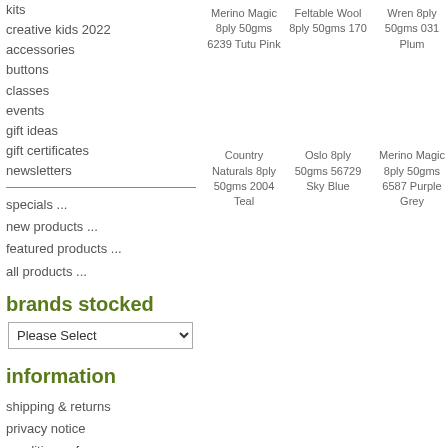kits
creative kids 2022
accessories
buttons
classes
events
gift ideas
gift certificates
newsletters
specials ...
new products ...
featured products ...
all products ...
brands stocked
information
shipping & returns
privacy notice
conditions of use
contact us
Merino Magic 8ply 50gms 6239 Tutu Pink
Feltable Wool 8ply 50gms 170
Wren 8ply 50gms 031 Plum
Country Naturals 8ply 50gms 2004 Teal
Oslo 8ply 50gms 56729 Sky Blue
Merino Magic 8ply 50gms 6587 Purple Grey